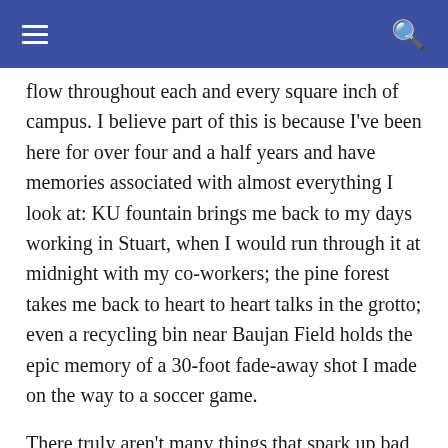flow throughout each and every square inch of campus. I believe part of this is because I’ve been here for over four and a half years and have memories associated with almost everything I look at: KU fountain brings me back to my days working in Stuart, when I would run through it at midnight with my co-workers; the pine forest takes me back to heart to heart talks in the grotto; even a recycling bin near Baujan Field holds the epic memory of a 30-foot fade-away shot I made on the way to a soccer game.
There truly aren’t many things that spark up bad memories in me, but there has always been one